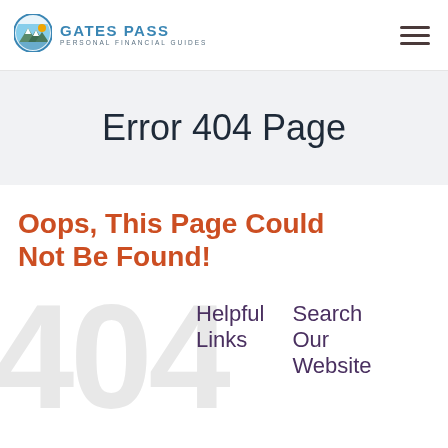[Figure (logo): Gates Pass Personal Financial Guides logo — circular mountain/sun icon with blue text]
Error 404 Page
Oops, This Page Could Not Be Found!
Helpful Links
Search Our Website